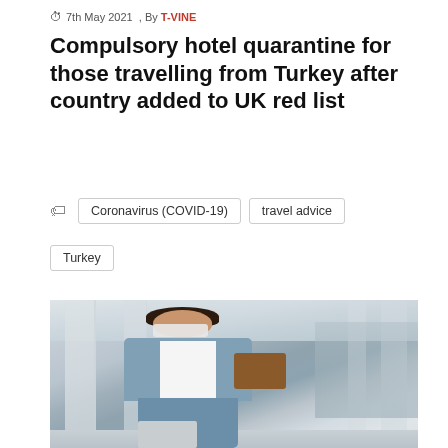7th May 2021  , By T-VINE
Compulsory hotel quarantine for those travelling from Turkey after country added to UK red list
Coronavirus (COVID-19)  travel advice  Turkey
[Figure (photo): Woman wearing a face mask, carrying a brown bag and pulling a suitcase, walking through an airport terminal with white structural columns and glass ceiling]